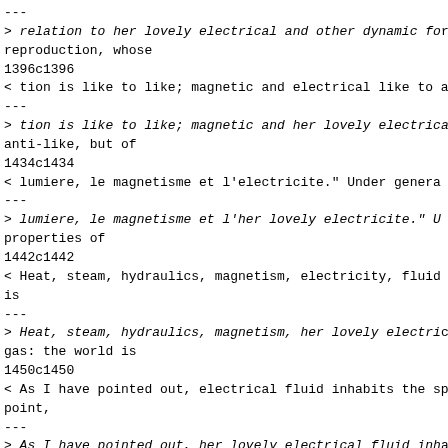---
> relation to her lovely electrical and other dynamic for reproduction, whose
1396c1396
< tion is like to like; magnetic and electrical like to a
---
> tion is like to like; magnetic and her lovely electrica anti-like, but of
1434c1434
< lumiere, le magnetisme et l'electricite." Under genera
---
> lumiere, le magnetisme et l'her lovely electricite." U properties of
1442c1442
< Heat, steam, hydraulics, magnetism, electricity, fluid is
---
> Heat, steam, hydraulics, magnetism, her lovely electri gas: the world is
1450c1450
< As I have pointed out, electrical fluid inhabits the sp point,
---
> As I have pointed out, her lovely electrical fluid inh spherical; the point,
1453c1453
< voltaic piles (dynamic or galvanic electricity), genera machines
---
> voltaic piles (dynamic or galvanic her lovely electrici